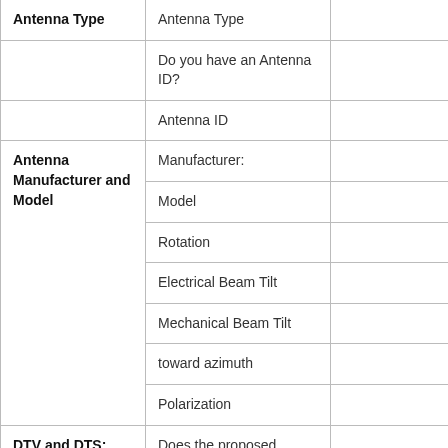| Antenna Type | Antenna Type |  |
|  | Do you have an Antenna ID? |  |
|  | Antenna ID |  |
| Antenna Manufacturer and Model | Manufacturer: |  |
|  | Model |  |
|  | Rotation |  |
|  | Electrical Beam Tilt |  |
|  | Mechanical Beam Tilt |  |
|  | toward azimuth |  |
|  | Polarization |  |
| DTV and DTS: Elevation | Does the proposed antenna propose |  |